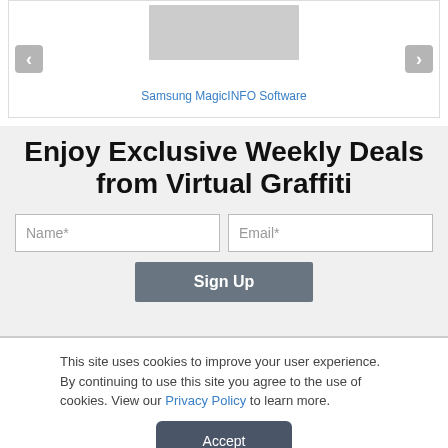[Figure (screenshot): Carousel widget with left/right navigation arrows and a product image placeholder, showing a link to Samsung MagicINFO Software]
Samsung MagicINFO Software
Enjoy Exclusive Weekly Deals from Virtual Graffiti
Name*
Email*
Sign Up
This site uses cookies to improve your user experience. By continuing to use this site you agree to the use of cookies. View our Privacy Policy to learn more.
Accept